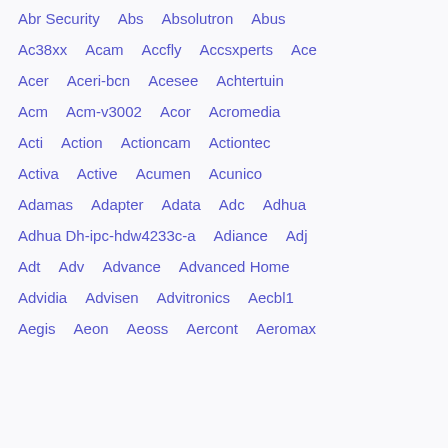Abr Security
Abs
Absolutron
Abus
Ac38xx
Acam
Accfly
Accsxperts
Ace
Acer
Aceri-bcn
Acesee
Achtertuin
Acm
Acm-v3002
Acor
Acromedia
Acti
Action
Actioncam
Actiontec
Activa
Active
Acumen
Acunico
Adamas
Adapter
Adata
Adc
Adhua
Adhua Dh-ipc-hdw4233c-a
Adiance
Adj
Adt
Adv
Advance
Advanced Home
Advidia
Advisen
Advitronics
Aecbl1
Aegis
Aeon
Aeoss
Aercont
Aeromax